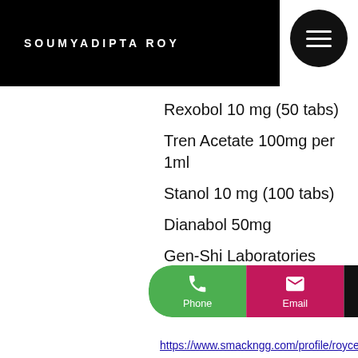SOUMYADIPTA ROY
Rexobol 10 mg (50 tabs)
Tren Acetate 100mg per 1ml
Stanol 10 mg (100 tabs)
Dianabol 50mg
Gen-Shi Laboratories
Para Pharma Europe Domestic
Testosterone Undecanoate
Magnum Pharmaceuticals
Alphabolin 100mg/ml x 5 amps
Stanozolol 10mg x 100 tablets
Boldenone 10ml – 300mg
Methenolone Acetate
Phone | Email | Instagram | Twitter
https://www.smackngg.com/profile/royceloug